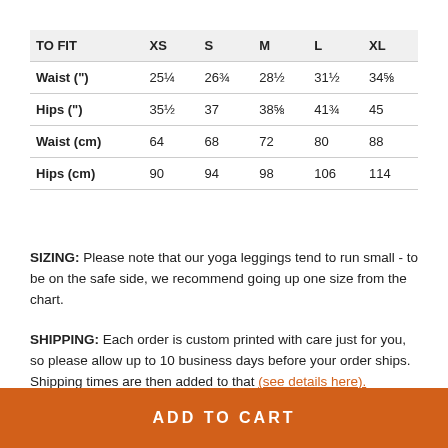| TO FIT | XS | S | M | L | XL |
| --- | --- | --- | --- | --- | --- |
| Waist (") | 25¼ | 26¾ | 28½ | 31½ | 34⅝ |
| Hips (") | 35½ | 37 | 38⅝ | 41¾ | 45 |
| Waist (cm) | 64 | 68 | 72 | 80 | 88 |
| Hips (cm) | 90 | 94 | 98 | 106 | 114 |
SIZING: Please note that our yoga leggings tend to run small - to be on the safe side, we recommend going up one size from the chart.
SHIPPING: Each order is custom printed with care just for you, so please allow up to 10 business days before your order ships. Shipping times are then added to that (see details here).
ADD TO CART